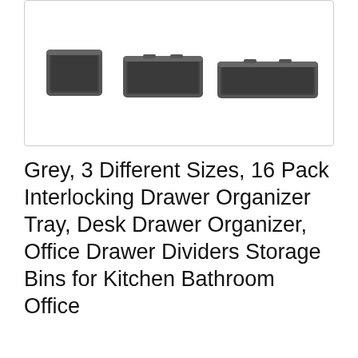[Figure (photo): Three grey plastic drawer organizer trays of different sizes shown against white background inside a rounded-corner box]
Grey, 3 Different Sizes, 16 Pack Interlocking Drawer Organizer Tray, Desk Drawer Organizer, Office Drawer Dividers Storage Bins for Kitchen Bathroom Office
As an Amazon Associate I earn from qualifying purchases. This website uses the only necessary cookies to ensure you get the best experience on our website. More information